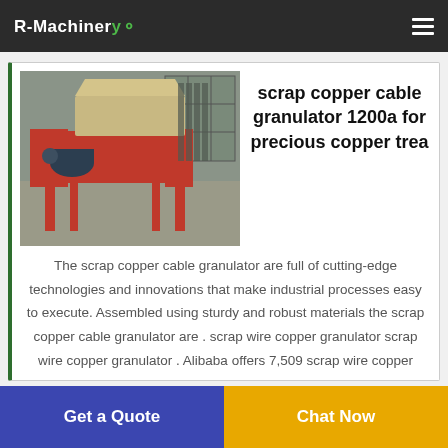R-Machinery
[Figure (photo): Industrial scrap copper cable granulator machine with red metal frame and motor, photographed in a warehouse setting]
scrap copper cable granulator 1200a for precious copper trea
The scrap copper cable granulator are full of cutting-edge technologies and innovations that make industrial processes easy to execute. Assembled using sturdy and robust materials the scrap copper cable granulator are . scrap wire copper granulator scrap wire copper granulator . Alibaba offers 7,509 scrap wire copper